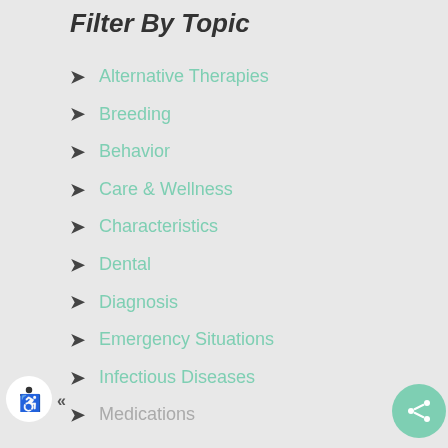Filter By Topic
Alternative Therapies
Breeding
Behavior
Care & Wellness
Characteristics
Dental
Diagnosis
Emergency Situations
Infectious Diseases
Medications